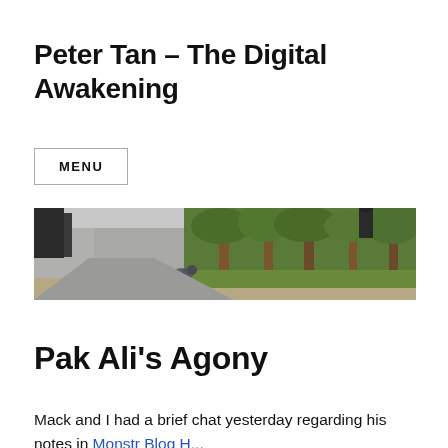Peter Tan – The Digital Awakening
MENU
[Figure (photo): Outdoor garden scene showing a pigeon near a wall with trees and green plants in the background]
Pak Ali's Agony
Mack and I had a brief chat yesterday regarding his notes...